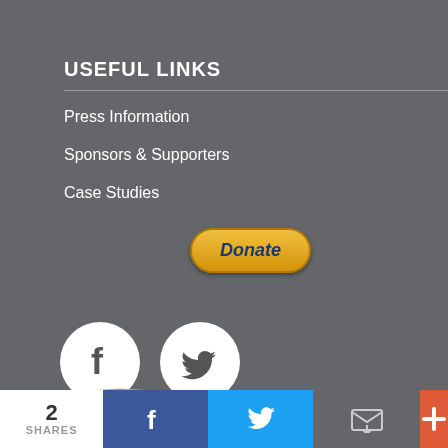USEFUL LINKS
Press Information
Sponsors & Supporters
Case Studies
[Figure (other): PayPal Donate button]
[Figure (other): Facebook and Twitter social media icon circles]
[Figure (other): Shield/award icon outline at bottom left]
[Figure (other): reCAPTCHA logo at bottom right]
2 SHARES | Facebook share | Twitter share | Email share | More